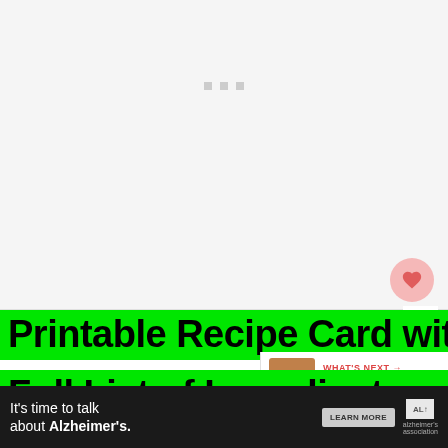[Figure (photo): Large white/light gray placeholder image area for a recipe photo, with three small gray squares visible as loading indicators near the top center]
1.2K
Printable Recipe Card with c Full List of Ingredients and
WHAT'S NEXT → Instant Pot Venison Ru...
It's time to talk about Alzheimer's. LEARN MORE alzheimer's association